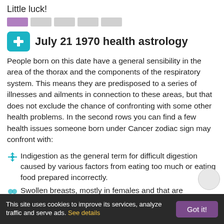Little luck!
[Figure (infographic): Rating bar with 5 segments: first segment purple/lavender, remaining four segments light gray]
July 21 1970 health astrology
People born on this date have a general sensibility in the area of the thorax and the components of the respiratory system. This means they are predisposed to a series of illnesses and ailments in connection to these areas, but that does not exclude the chance of confronting with some other health problems. In the second rows you can find a few health issues someone born under Cancer zodiac sign may confront with:
Indigestion as the general term for difficult digestion caused by various factors from eating too much or eating food prepared incorrectly.
Swollen breasts, mostly in females and that are sometimes unrelated to menstrual cycle changes.
Allergies that are either genetic or newly obtained.
Hiccough or hiccups represents the involuntary
This site uses cookies to improve its services, analyze traffic and serve ads. See details